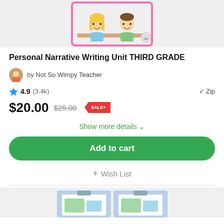[Figure (illustration): Cartoon illustration of two children (a girl and a boy) sitting at a desk, smiling, with a pink border frame. Partially cropped at top.]
Personal Narrative Writing Unit THIRD GRADE
by Not So Wimpy Teacher
4.9 (3.4k)   ✓ Zip
$20.00  $25.00  SALE+
Show more details ∨
Add to cart
+ Wish List
[Figure (illustration): Thumbnail images of product pages showing clipboards with maps, partially visible at bottom of page.]